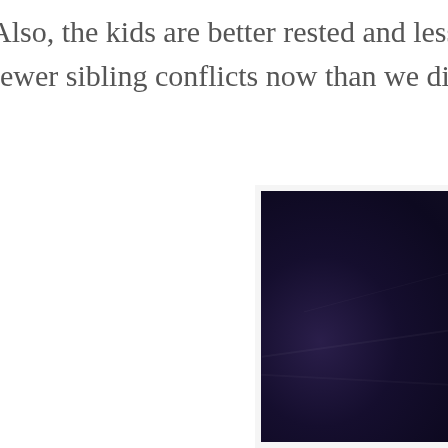Also, the kids are better rested and less... fewer sibling conflicts now than we did...
[Figure (photo): Dark navy/purple fabric or textile background with visible creases and folds, partially visible on the right side of the page]